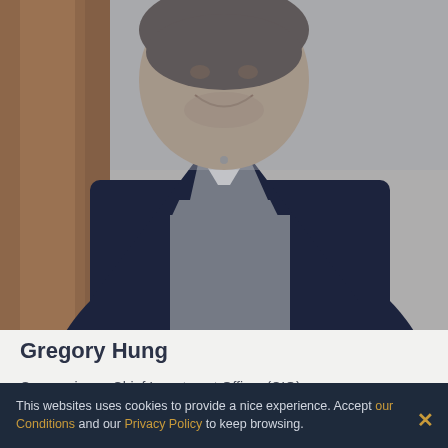[Figure (photo): Professional headshot of Gregory Hung, a man in a dark navy blazer over a grey sweater and white collared shirt, smiling, photographed indoors against a warm-toned wooden pillar background.]
Gregory Hung
Gregory is our Chief Investment Officer (CIO).
This websites uses cookies to provide a nice experience. Accept our Conditions and our Privacy Policy to keep browsing.